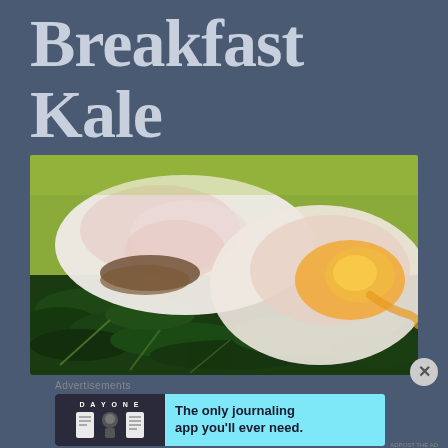Breakfast Kale
[Figure (photo): Close-up photo of poached eggs served on a bed of sautéed kale, showing runny yolks and leafy greens on a plate.]
Advertisements
[Figure (screenshot): Advertisement banner for Day One journaling app with text: The only journaling app you'll ever need. Shows app icon and characters on dark background with light blue banner.]